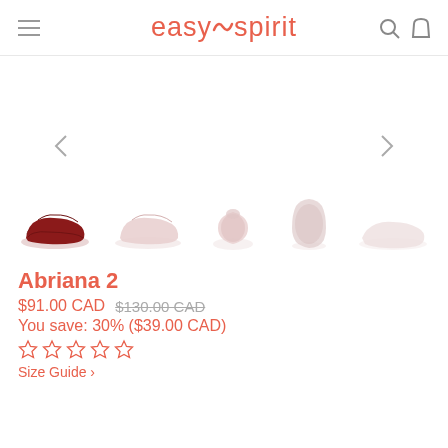easy spirit
[Figure (photo): Product gallery showing 5 thumbnail views of the Abriana 2 shoe: side view in dark red/burgundy, side view in light pink, front/toe view in light pink, bottom sole view, and outsole view. Navigation arrows (< >) are visible on left and right.]
Abriana 2
$91.00 CAD $130.00 CAD
You save: 30% ($39.00 CAD)
☆ ☆ ☆ ☆ ☆
Size Guide >